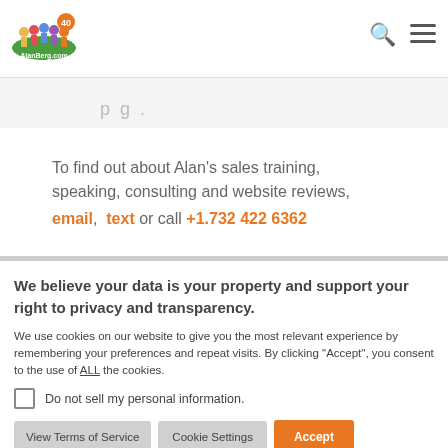[Figure (logo): AlanBerg.com logo with colorful cartoon figures and '40' text]
To find out about Alan’s sales training, speaking, consulting and website reviews, email, text or call +1.732 422 6362
We believe your data is your property and support your right to privacy and transparency.
We use cookies on our website to give you the most relevant experience by remembering your preferences and repeat visits. By clicking “Accept”, you consent to the use of ALL the cookies.
Do not sell my personal information.
View Terms of Service  Cookie Settings  Accept